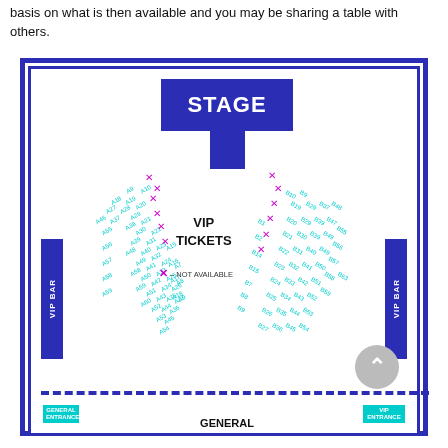basis on what is then available and you may be sharing a table with others.
[Figure (other): Venue seating map showing Stage at top center, left and right angled seating sections with labeled seat numbers (A and B series), VIP Tickets area in center, VIP Bars on left and right sides, dashed divider line, General Entrance bottom left, VIP Entrance bottom right, General seating label at bottom. X marks indicate unavailable seats.]